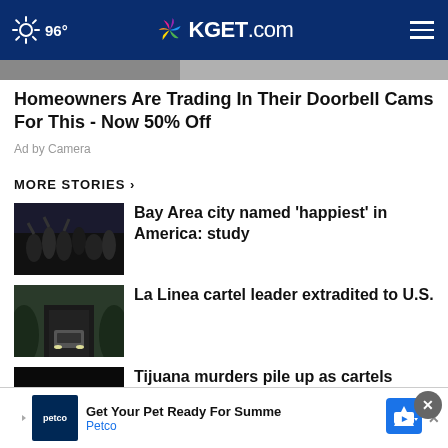96° KGET.com
Homeowners Are Trading In Their Doorbell Cams For This - Now 50% Off
Ad by Camera
MORE STORIES >
Bay Area city named 'happiest' in America: study
La Linea cartel leader extradited to U.S.
Tijuana murders pile up as cartels fight for control
...rison petition for ...
Get Your Pet Ready For Summe Petco